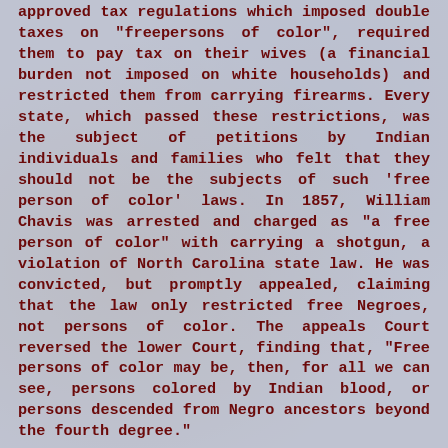approved tax regulations which imposed double taxes on "freepersons of color", required them to pay tax on their wives (a financial burden not imposed on white households) and restricted them from carrying firearms. Every state, which passed these restrictions, was the subject of petitions by Indian individuals and families who felt that they should not be the subjects of such 'free person of color' laws. In 1857, William Chavis was arrested and charged as "a free person of color" with carrying a shotgun, a violation of North Carolina state law. He was convicted, but promptly appealed, claiming that the law only restricted free Negroes, not persons of color. The appeals Court reversed the lower Court, finding that, "Free persons of color may be, then, for all we can see, persons colored by Indian blood, or persons descended from Negro ancestors beyond the fourth degree."
Prior to 1850, the Apalachicola Cheraws were recorded as 'other free persons' or 'free persons of color' on Jackson and Calhoun County tax rolls. In 1856 Florida tax books changed their format from a 'free persons of color' bracket to a 'free Negroes & Mulattos' bracket. At that point the